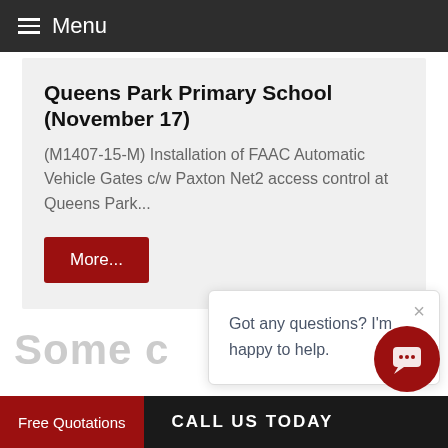Menu
Queens Park Primary School (November 17)
(M1407-15-M) Installation of FAAC Automatic Vehicle Gates c/w Paxton Net2 access control at Queens Park...
More...
Some c
Got any questions? I'm happy to help.
Free Quotations   CALL US TODAY